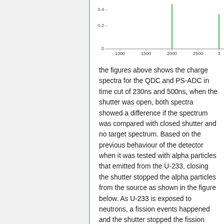[Figure (continuous-plot): Partial view of a charge spectrum plot (QDC or PS-ADC). Y-axis shows values 0, 0.2, 0.4. X-axis shows values from 1000 to beyond 3000 (partially cut off at right). A tall green spike is visible near 2000 and another near 3000.]
the figures above shows the charge spectra for the QDC and PS-ADC in time cut of 230ns and 500ns, when the shutter was open, both spectra showed a difference if the spectrum was compared with closed shutter and no target spectrum. Based on the previous behaviour of the detector when it was tested with alpha particles that emitted from the U-233, closing the shutter stopped the alpha particles from the source as shown in the figure below. As U-233 is exposed to neutrons, a fission events happened and the shutter stopped the fission fragments, which ionized the gas in case of open shutter with a charge in range of 475pC to 575